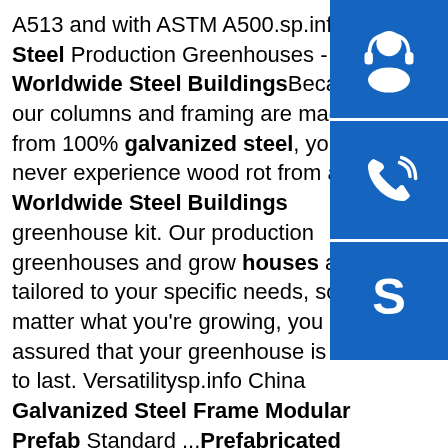A513 and with ASTM A500.sp.info Steel Production Greenhouses - Worldwide Steel BuildingsBecause our columns and framing are made from 100% galvanized steel, you'll never experience wood rot from a Worldwide Steel Buildings greenhouse kit. Our production greenhouses and grow houses are tailored to your specific needs, so no matter what you're growing, you rest assured that your greenhouse is built to last. Versatilitysp.info China Galvanized Steel Frame Modular Prefab Standard ...Prefabricated Building, Steel Prefab House manufacturer / supplier in China, offering Galvanized Steel Frame Modular Prefab Standard Container House, Experience Manufacturer Luxury Balboa System Swim SPA for Hotel SPA Center, New Arrival Prefab Glass Wooden Prefabricated Container House in German and so on.sp.info Steel Frame Cabin Kit Home 3 Bedroom from $11,698Apparently, though, these are steel frame cabin kits (ie the frame kit only), but for a 3-bedroom house that's almost 900 square feet. The
[Figure (illustration): Three blue square buttons stacked vertically on the right side: top has a customer support/headset icon, middle has a phone/call icon, bottom has a Skype icon]